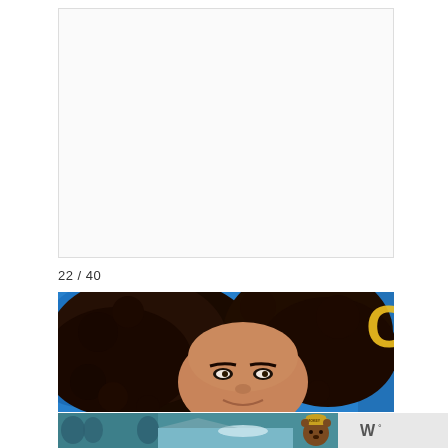[Figure (photo): Blank/white upper area where previous image would appear, appears as a light gray rectangle placeholder]
22 / 40
[Figure (photo): Close-up photo of a woman with voluminous dark curly hair smiling, shot against a blue background with partial yellow lettering visible]
[Figure (photo): Banner advertisement featuring Smokey Bear with teal/blue decorative background and a lake scene; text 'W' visible on right side]